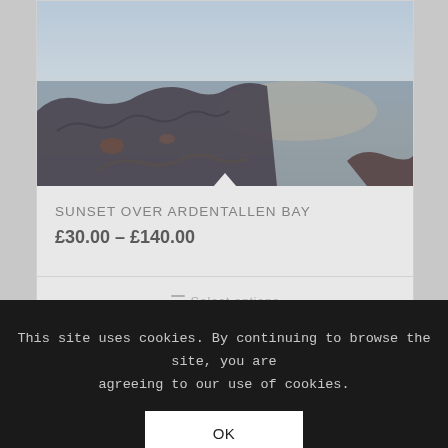[Figure (photo): Landscape photo of a bay at sunset/dusk showing rocky shoreline with calm blue-grey water reflecting soft light from the sky]
SUNSET OVER ARDENTALLEN BAY
£30.00 – £140.00
Select options
[Figure (photo): Partial view of a dark product image peeking from below the cookie banner]
This site uses cookies. By continuing to browse the site, you are agreeing to our use of cookies.
OK